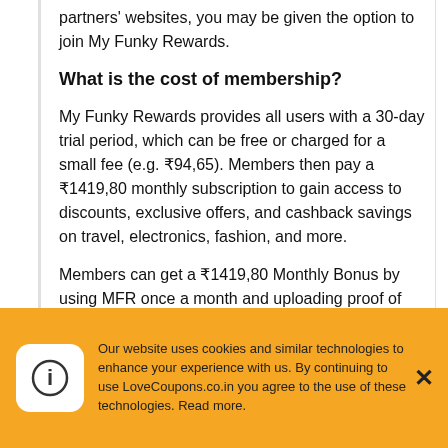partners' websites, you may be given the option to join My Funky Rewards.
What is the cost of membership?
My Funky Rewards provides all users with a 30-day trial period, which can be free or charged for a small fee (e.g. ₹94,65). Members then pay a ₹1419,80 monthly subscription to gain access to discounts, exclusive offers, and cashback savings on travel, electronics, fashion, and more.
Members can get a ₹1419,80 Monthly Bonus by using MFR once a month and uploading proof of purchase through their account area.
Our website uses cookies and similar technologies to enhance your experience with us. By continuing to use LoveCoupons.co.in you agree to the use of these technologies. Read more.